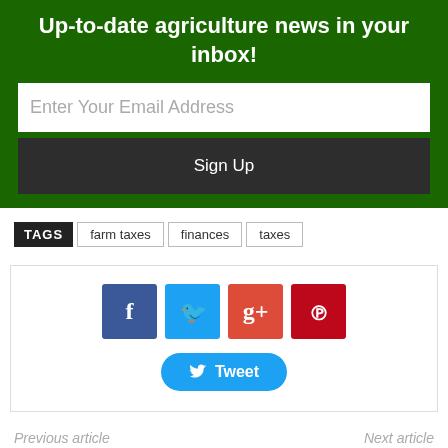Up-to-date agriculture news in your inbox!
Enter Your Email Address
Sign Up
TAGS  farm taxes  finances  taxes
[Figure (infographic): Social sharing buttons: Facebook (blue), Twitter (light blue), Google+ (red-orange), Pinterest (dark red), and a Tweet button with Twitter bird icon]
Previous article    Next article